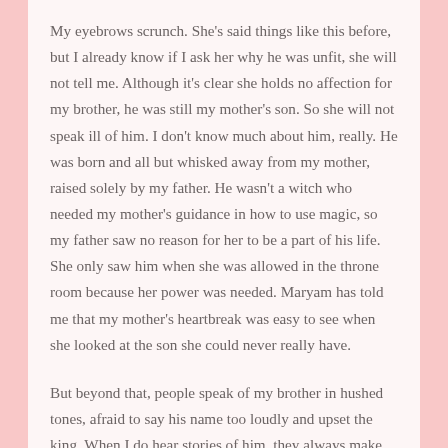My eyebrows scrunch. She's said things like this before, but I already know if I ask her why he was unfit, she will not tell me. Although it's clear she holds no affection for my brother, he was still my mother's son. So she will not speak ill of him. I don't know much about him, really. He was born and all but whisked away from my mother, raised solely by my father. He wasn't a witch who needed my mother's guidance in how to use magic, so my father saw no reason for her to be a part of his life. She only saw him when she was allowed in the throne room because her power was needed. Maryam has told me that my mother's heartbreak was easy to see when she looked at the son she could never really have.
But beyond that, people speak of my brother in hushed tones, afraid to say his name too loudly and upset the king. When I do hear stories of him, they always make my